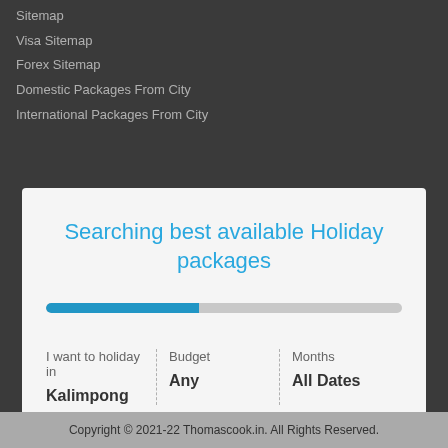Sitemap
Visa Sitemap
Forex Sitemap
Domestic Packages From City
International Packages From City
Searching best available Holiday packages
[Figure (infographic): A horizontal progress bar showing approximately 43% filled in blue, the remainder in grey]
I want to holiday in
Kalimpong
Budget
Any
Months
All Dates
International Travel Guideline
India Travel Guidelines
Copyright © 2021-22 Thomascook.in. All Rights Reserved.